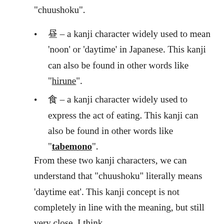“chuushoku”.
昼 – a kanji character widely used to mean ‘noon’ or ‘daytime’ in Japanese. This kanji can also be found in other words like “hirune”.
食 – a kanji character widely used to express the act of eating. This kanji can also be found in other words like “tabemono”.
From these two kanji characters, we can understand that “chuushoku” literally means ‘daytime eat’. This kanji concept is not completely in line with the meaning, but still very close, I think.